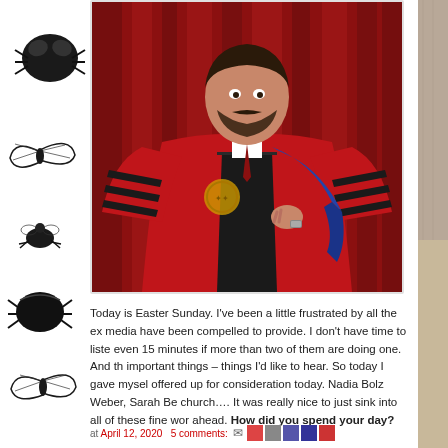[Figure (photo): Left sidebar with decorative black ink illustrations of insects/bugs including flies and a beetle, arranged vertically along the left edge of the page]
[Figure (photo): Photograph of a man wearing a red doctoral academic regalia (graduation robe) with black velvet stripes, holding a blue sash, standing in front of a red curtain background]
Today is Easter Sunday. I've been a little frustrated by all the ex media have been compelled to provide. I don't have time to liste even 15 minutes if more than two of them are doing one. And th important things – things I'd like to hear. So today I gave mysel offered up for consideration today. Nadia Bolz Weber, Sarah Be church…. It was really nice to just sink into all of these fine wor ahead. How did you spend your day?
at April 12, 2020   5 comments: